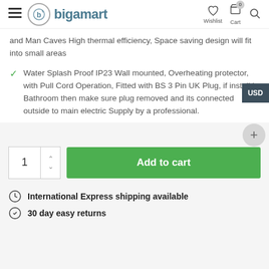bigamart — Wishlist, Cart, Search
and Man Caves High thermal efficiency, Space saving design will fit into small areas
Water Splash Proof IP23 Wall mounted, Overheating protector, with Pull Cord Operation, Fitted with BS 3 Pin UK Plug, if install in Bathroom then make sure plug removed and its connected outside to main electric Supply by a professional.
1  Add to cart
International Express shipping available
30 day easy returns